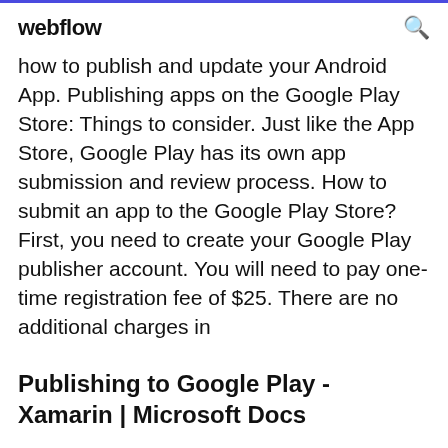webflow
how to publish and update your Android App. Publishing apps on the Google Play Store: Things to consider. Just like the App Store, Google Play has its own app submission and review process. How to submit an app to the Google Play Store? First, you need to create your Google Play publisher account. You will need to pay one-time registration fee of $25. There are no additional charges in
Publishing to Google Play - Xamarin | Microsoft Docs